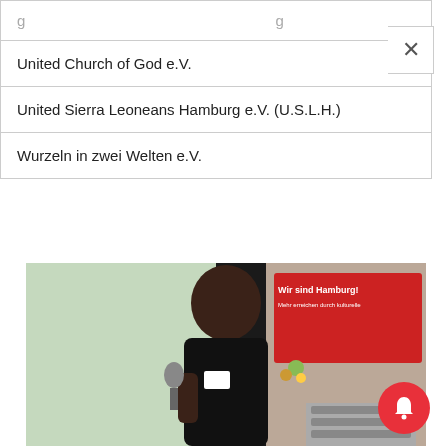| …g… |
| United Church of God e.V. |
| United Sierra Leoneans Hamburg e.V. (U.S.L.H.) |
| Wurzeln in zwei Welten e.V. |
[Figure (photo): A man in a black shirt holding a microphone at a podium or event, with a projection screen in the background and a 'Wir sind Hamburg!' banner on the right side.]